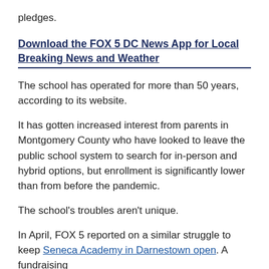pledges.
Download the FOX 5 DC News App for Local Breaking News and Weather
The school has operated for more than 50 years, according to its website.
It has gotten increased interest from parents in Montgomery County who have looked to leave the public school system to search for in-person and hybrid options, but enrollment is significantly lower than from before the pandemic.
The school's troubles aren't unique.
In April, FOX 5 reported on a similar struggle to keep Seneca Academy in Darnestown open. A fundraising